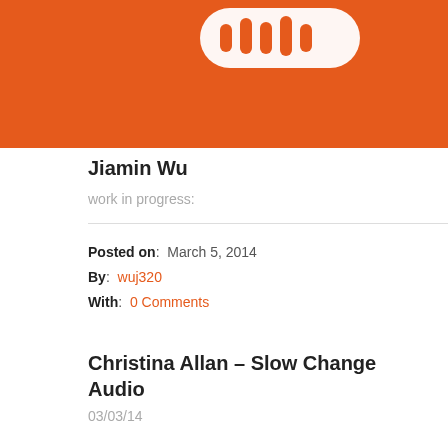[Figure (logo): SoundCloud orange banner with white waveform/bars logo icon at top]
Jiamin Wu
work in progress:
Posted on: March 5, 2014
By: wuj320
With: 0 Comments
Christina Allan – Slow Change Audio
03/03/14